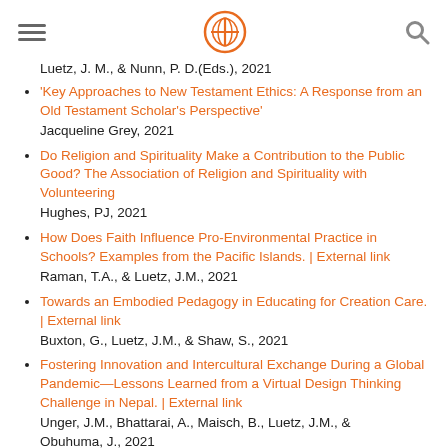[hamburger menu] [logo] [search icon]
Luetz, J. M., & Nunn, P. D.(Eds.), 2021
'Key Approaches to New Testament Ethics: A Response from an Old Testament Scholar's Perspective'
Jacqueline Grey, 2021
Do Religion and Spirituality Make a Contribution to the Public Good? The Association of Religion and Spirituality with Volunteering
Hughes, PJ, 2021
How Does Faith Influence Pro-Environmental Practice in Schools? Examples from the Pacific Islands. | External link
Raman, T.A., & Luetz, J.M., 2021
Towards an Embodied Pedagogy in Educating for Creation Care. | External link
Buxton, G., Luetz, J.M., & Shaw, S., 2021
Fostering Innovation and Intercultural Exchange During a Global Pandemic—Lessons Learned from a Virtual Design Thinking Challenge in Nepal. | External link
Unger, J.M., Bhattarai, A., Maisch, B., Luetz, J.M., & Obuhuma, J., 2021
"Duplicity Behind Stained Glass: Childlike 'self-knowledge'